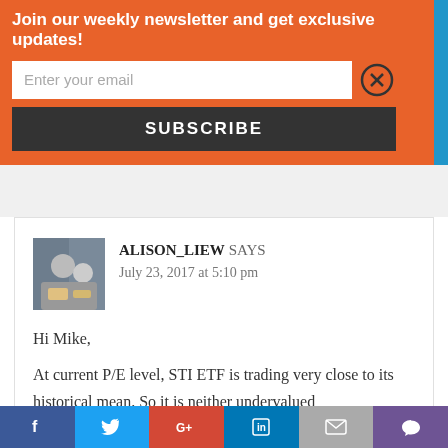Join our weekly newsletter and get exclusive updates!
Enter your email
SUBSCRIBE
ALISON_LIEW SAYS
July 23, 2017 at 5:10 pm
Hi Mike,

At current P/E level, STI ETF is trading very close to its historical mean. So it is neither undervalued
f  Twitter  G+  in  Email  Crown